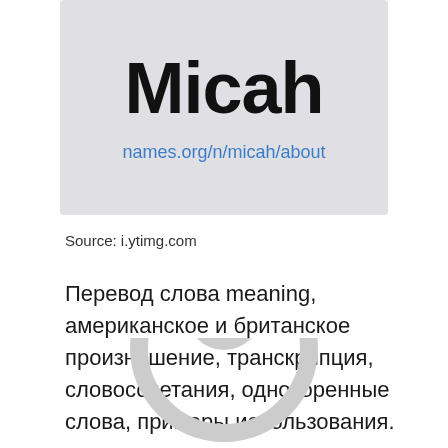[Figure (screenshot): Screenshot thumbnail showing the word 'Micah' in large bold text on a light gray background, with a blue hyperlink 'names.org/n/micah/about' below it]
Source: i.ytimg.com
Перевод слова meaning, американское и британское произношение, транскрипция, словосочетания, однокоренные слова, примеры использования.
[Figure (illustration): Partially visible circular icon/logo at the bottom of the page, light gray on white background]